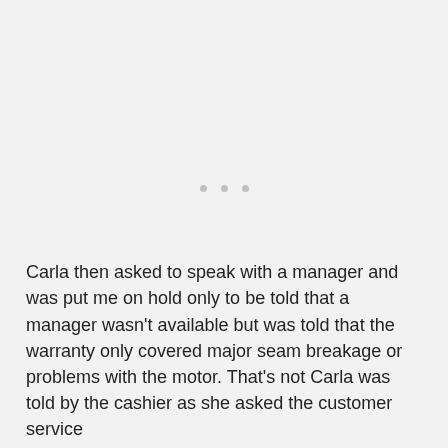[Figure (other): Three small gray dots centered on the page, indicating a loading or continuation indicator]
Carla then asked to speak with a manager and was put me on hold only to be told that a manager wasn't available but was told that the warranty only covered major seam breakage or problems with the motor. That's not Carla was told by the cashier as she asked the customer service